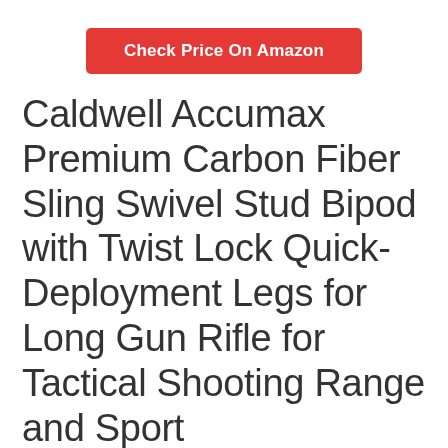[Figure (other): Red button labeled 'Check Price On Amazon']
Caldwell Accumax Premium Carbon Fiber Sling Swivel Stud Bipod with Twist Lock Quick-Deployment Legs for Long Gun Rifle for Tactical Shooting Range and Sport
Product Highlights:
– –
– The Caldwell Accumax Premium Carbon Fiber Sling Swivel Stud Bipod with Twist Lock Quick-Deployment